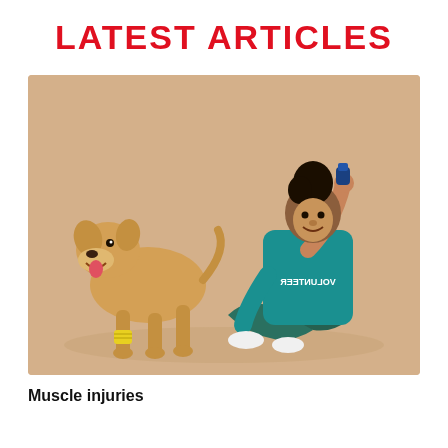LATEST ARTICLES
[Figure (photo): A smiling woman in a teal 'VOLUNTEER' t-shirt and dark jeans sits cross-legged on a beige background, holding up a small blue object toward a golden/tan dog that has a yellow bandage on its front leg. The dog's mouth is open.]
Muscle injuries